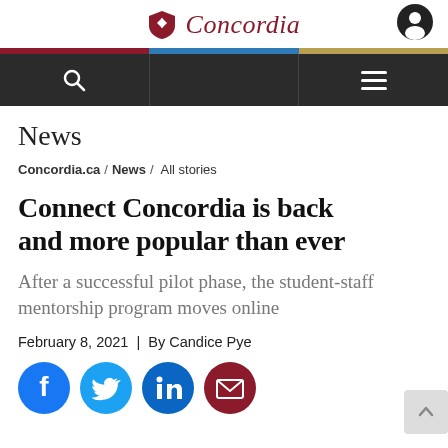Concordia
News
Concordia.ca / News / All stories
Connect Concordia is back and more popular than ever
After a successful pilot phase, the student-staff mentorship program moves online
February 8, 2021 | By Candice Pye
[Figure (illustration): Social media share icons: Facebook (blue), Twitter (blue), LinkedIn (blue), Email (dark red)]